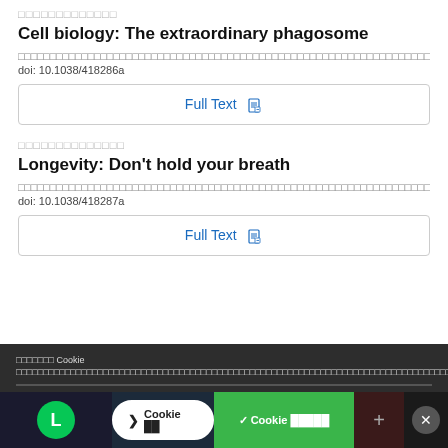□□□□□□□□□□□□□
Cell biology: The extraordinary phagosome
□□□□□□□□□□□□□□□□□□□□□□□□□□□□□□□□□□□□□□□□□□□□□□□□□□□□□□□□□□□□□□□□□□□□□□□□□□□□□□□□□□□□
doi: 10.1038/418286a
Full Text
□□□□□□□□□□□□□□
Longevity: Don't hold your breath
□□□□□□□□□□□□□□□□□□□□□□□□□□□□□□□□□□□□□□□□□□□□□□□□□□□□□□□□□□□□□□□□□□□□□□□□□□□□□□□□□
doi: 10.1038/418287a
Full Text
□□□□□□□ Cookie □□□□□□□□□□□□□□□□□□□□□□□□□□□□□□□□□□□□□□□□□□□□□□□□□□□□□□□□□□□□□□□□□□□□□□□□□□□□□□□□□□□□□□□□□□□□□□□□□□□□□□□□□□□□□□□□□□□□□□□□□□□□□□□□□□□□□□□□□□□□□□□□□□□□□□□□□